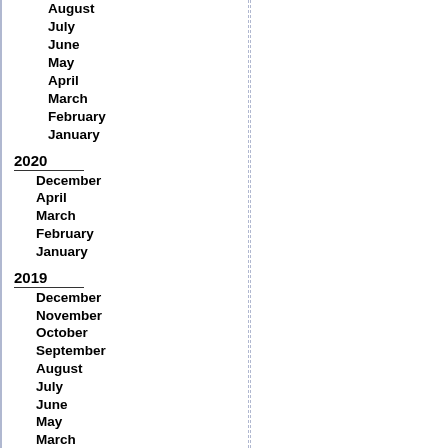August
July
June
May
April
March
February
January
2020
December
April
March
February
January
2019
December
November
October
September
August
July
June
May
March
February
January
2018
December
November
October